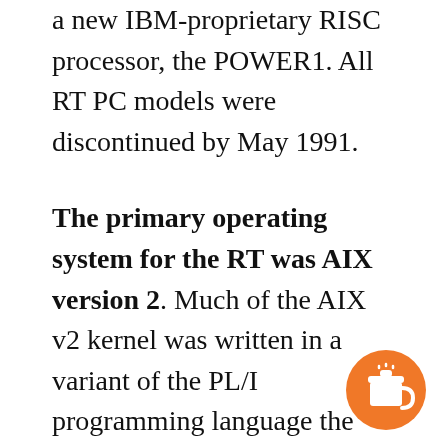a new IBM-proprietary RISC processor, the POWER1. All RT PC models were discontinued by May 1991.
The primary operating system for the RT was AIX version 2. Much of the AIX v2 kernel was written in a variant of the PL/I programming language the PL/8, which proved troublesome during the migration to AIX v3. AIX v2 included full TCP/IP networking support, as well as SNA, and two networking file systems: NFS, licensed from Sun Microsystems, and IBM Distributed Services (DS). DS had the distinction of being built on top of SNA, and thereby being fully compatible with DS on the IBM midrange AS/400 and mainframe systems. ...
[Figure (illustration): Orange circle with a coffee cup icon (Buy Me a Coffee button) in the bottom-right corner of the page.]